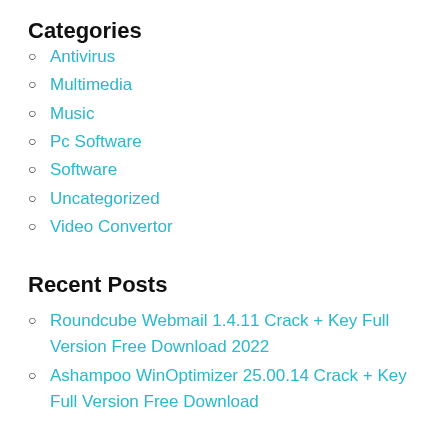Categories
Antivirus
Multimedia
Music
Pc Software
Software
Uncategorized
Video Convertor
Recent Posts
Roundcube Webmail 1.4.11 Crack + Key Full Version Free Download 2022
Ashampoo WinOptimizer 25.00.14 Crack + Key Full Version Free Download